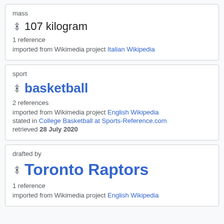mass
107 kilogram
1 reference
imported from Wikimedia project Italian Wikipedia
sport
basketball
2 references
imported from Wikimedia project English Wikipedia
stated in College Basketball at Sports-Reference.com
retrieved 28 July 2020
drafted by
Toronto Raptors
1 reference
imported from Wikimedia project English Wikipedia